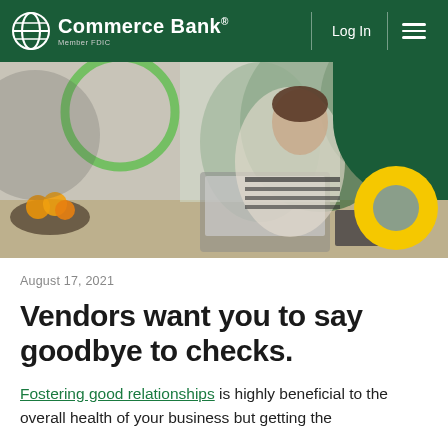Commerce Bank® Member FDIC — Log In
[Figure (photo): Woman in striped shirt working at a laptop computer at a desk with plants in the background. Commerce Bank website hero image with decorative green and yellow circular shapes.]
August 17, 2021
Vendors want you to say goodbye to checks.
Fostering good relationships is highly beneficial to the overall health of your business but getting the